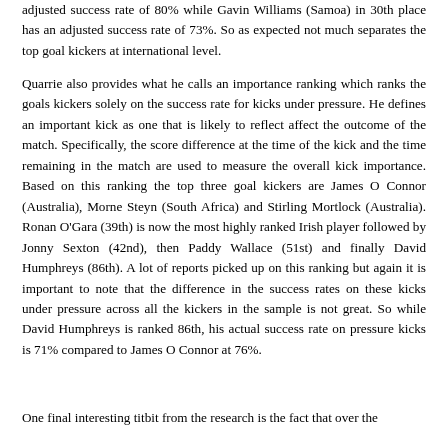adjusted success rate of 80% while Gavin Williams (Samoa) in 30th place has an adjusted success rate of 73%. So as expected not much separates the top goal kickers at international level.
Quarrie also provides what he calls an importance ranking which ranks the goals kickers solely on the success rate for kicks under pressure. He defines an important kick as one that is likely to reflect affect the outcome of the match. Specifically, the score difference at the time of the kick and the time remaining in the match are used to measure the overall kick importance. Based on this ranking the top three goal kickers are James O Connor (Australia), Morne Steyn (South Africa) and Stirling Mortlock (Australia). Ronan O'Gara (39th) is now the most highly ranked Irish player followed by Jonny Sexton (42nd), then Paddy Wallace (51st) and finally David Humphreys (86th). A lot of reports picked up on this ranking but again it is important to note that the difference in the success rates on these kicks under pressure across all the kickers in the sample is not great. So while David Humphreys is ranked 86th, his actual success rate on pressure kicks is 71% compared to James O Connor at 76%.
One final interesting titbit from the research is the fact that over the